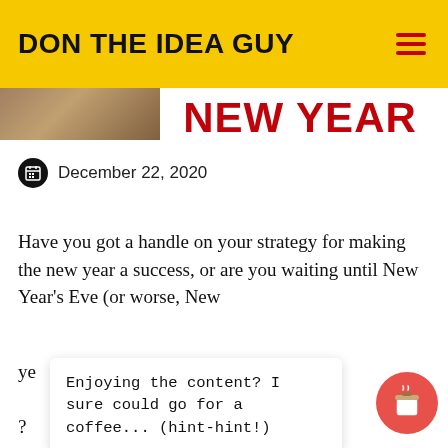DON THE IDEA GUY
NEW YEAR
December 22, 2020
Have you got a handle on your strategy for making the new year a success, or are you waiting until New Year's Eve (or worse, New ye...?
H... he plans ba... If so ti... [...]
Enjoying the content? I sure could go for a coffee... (hint-hint!)